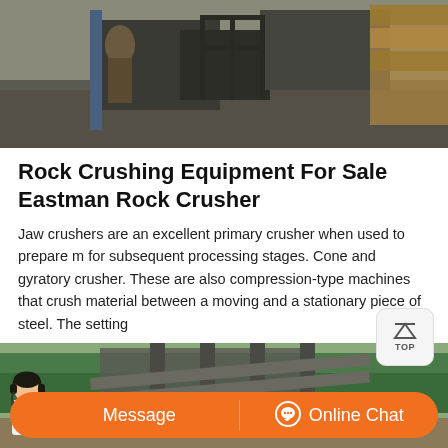[Figure (photo): Workers operating rock crushing machinery in an industrial setting with gravel ground]
Rock Crushing Equipment For Sale Eastman Rock Crusher
Jaw crushers are an excellent primary crusher when used to prepare material for subsequent processing stages. Cone and gyratory crusher. These are also compression-type machines that crush material between a moving and a stationary piece of steel. The setting
[Figure (photo): Rock crushing equipment in an outdoor setting with green forested background, with a message/online chat CTA bar overlay and customer service representative]